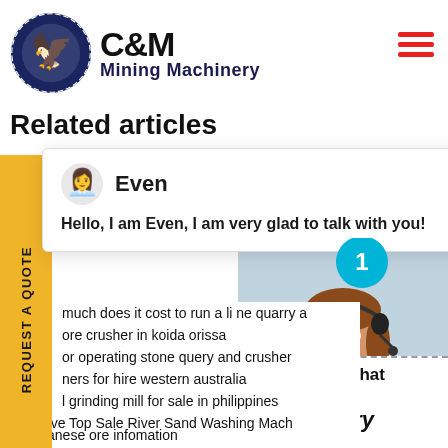[Figure (logo): C&M Mining Machinery logo with eagle in gear circle and text]
Related articles
[Figure (screenshot): Chat popup with agent named Even saying Hello, I am Even, I am very glad to talk with you!]
her hammer schematics
l Scrap Crushing Machine Metal Scrap Crushing Machine For
much does it cost to run a li ne quarry a
ore crusher in koida orissa
or operating stone query and crusher
ners for hire western australia
l grinding mill for sale in philippines
ore and copper ore crushing machinerie
Effective Top Sale River Sand Washing Mach
manganese ore infomation
900 1200 jaw crusher
primary crushers for copper
portable crusher impact stone crusher
[Figure (photo): Customer service representative with headset, click to chat and enquiry panel]